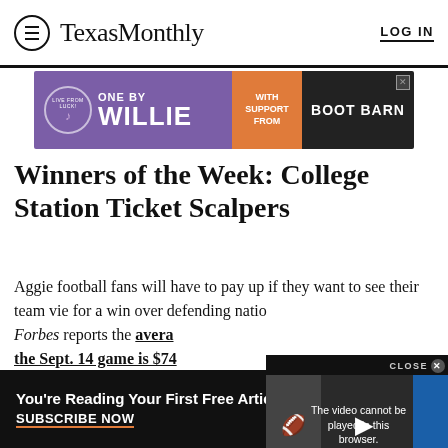Texas Monthly | LOG IN
[Figure (infographic): Advertisement banner for 'One By Willie' with Boot Barn sponsorship, purple and orange background]
Winners of the Week: College Station Ticket Scalpers
Aggie football fans will have to pay up if they want to see their team vie for a win over defending natio... Forbes reports the average ... the Sept. 14 game is $74... expensive college football game of the year,
[Figure (screenshot): Video overlay showing error message 'The video cannot be played in this browser. (Error Code: 24...)' with MORE button and America's Girls: A Wild & Glamorous Saga title]
You're Reading Your First Free Article
SUBSCRIBE NOW